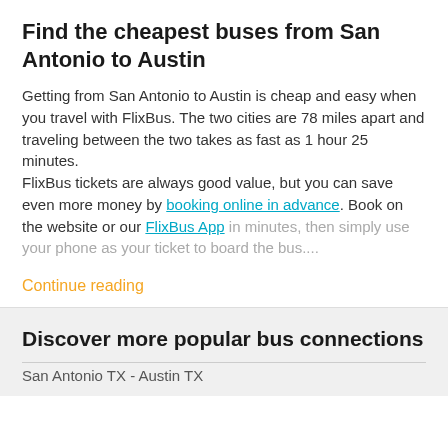Find the cheapest buses from San Antonio to Austin
Getting from San Antonio to Austin is cheap and easy when you travel with FlixBus. The two cities are 78 miles apart and traveling between the two takes as fast as 1 hour 25 minutes.
FlixBus tickets are always good value, but you can save even more money by booking online in advance. Book on the website or our FlixBus App in minutes, then simply use your phone as your ticket to board the bus....
Continue reading
Discover more popular bus connections
San Antonio TX - Austin TX